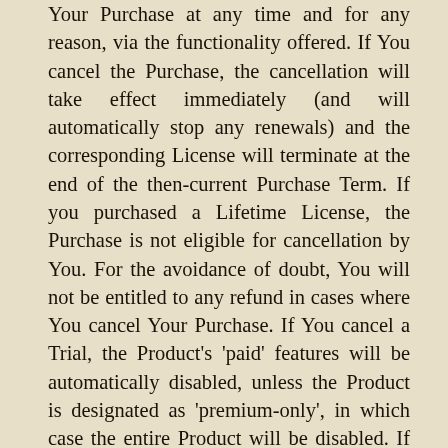Your Purchase at any time and for any reason, via the functionality offered. If You cancel the Purchase, the cancellation will take effect immediately (and will automatically stop any renewals) and the corresponding License will terminate at the end of the then-current Purchase Term. If you purchased a Lifetime License, the Purchase is not eligible for cancellation by You. For the avoidance of doubt, You will not be entitled to any refund in cases where You cancel Your Purchase. If You cancel a Trial, the Product's 'paid' features will be automatically disabled, unless the Product is designated as 'premium-only', in which case the entire Product will be disabled. If You object to any provision of this Agreement or any subsequent changes thereto, or become dissatisfied with the Product in any way, Your only recourse against Freemius is to cancel